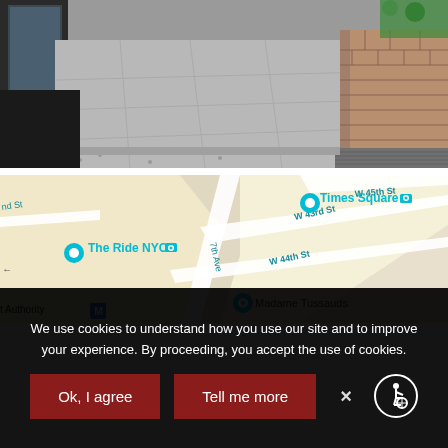[Figure (photo): Street-level photo of a New York City sidewalk showing concrete pavement slabs, a building facade with glass windows on the left, and brick/patterned paving on the right side. Some vehicles or objects visible in background.]
[Figure (map): Google Maps excerpt showing Times Square area in New York City. Visible labels include Times Square, The Ride NYC, Madame Tussauds, W 43rd St, W 44th St, W 45th St, 7th Ave, and Port Authority M (subway). Location pins visible for Times Square and The Ride NYC.]
We use cookies to understand how you use our site and to improve your experience. By proceeding, you accept the use of cookies.
Ok, I agree
Tell me more